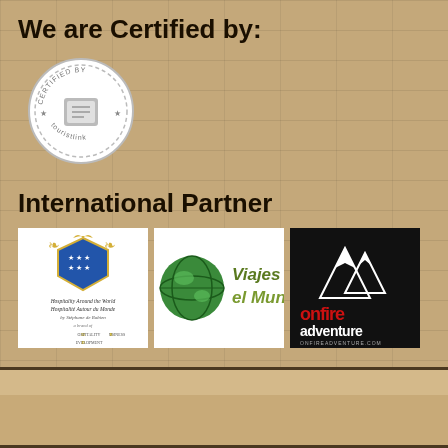We are Certified by:
[Figure (logo): Certified by touristlink circular badge/seal logo in grey and white]
International Partner
[Figure (logo): Hospitality Around the World / Hospitalité Autour du Monde by Stéphane de Robien, a brand of Hospitality Business Development - white background with heraldic crest]
[Figure (logo): Viajes por el Mundo - globe graphic with green and olive text on white background]
[Figure (logo): Onfire Adventure - white mountain peaks on black background with red and white text, ONFIREADVENTURE.COM]